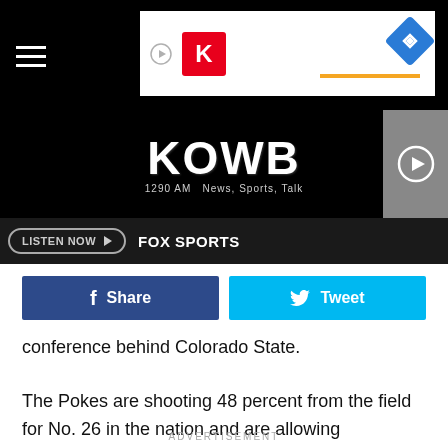[Figure (screenshot): KOWB 1280 AM radio station website header with logo, navigation bar, hamburger menu, listen now button, FOX SPORTS label, and social share buttons]
conference behind Colorado State.
The Pokes are shooting 48 percent from the field for No. 26 in the nation and are allowing opponents to shoot 42 percent to rank fourth in the conference. Wyoming has five games remaining with three of those contests in the Dome of Doom.
ADVERTISEMENT